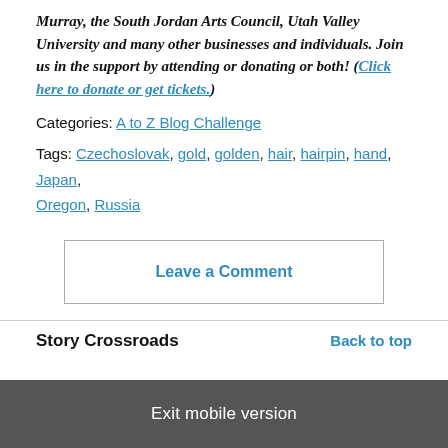Murray, the South Jordan Arts Council, Utah Valley University and many other businesses and individuals. Join us in the support by attending or donating or both! (Click here to donate or get tickets.)
Categories: A to Z Blog Challenge
Tags: Czechoslovak, gold, golden, hair, hairpin, hand, Japan, Oregon, Russia
Leave a Comment
Story Crossroads
Back to top
Exit mobile version